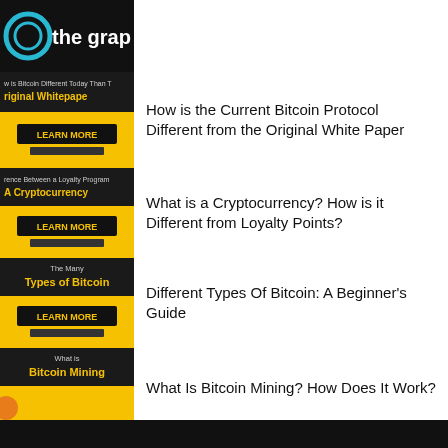[Figure (illustration): Partial thumbnail showing 'the grap' logo text in teal on dark background, partially cropped]
[Figure (illustration): Thumbnail: 'How is Bitcoin Different Today Than the Original Whitepaper' - black and yellow card with LEARN MORE button]
How is the Current Bitcoin Protocol Different from the Original White Paper
[Figure (illustration): Thumbnail: 'rence Between a Loyalty Program A Cryptocurrency' - black and yellow card with LEARN MORE button]
What is a Cryptocurrency? How is it Different from Loyalty Points?
[Figure (illustration): Thumbnail: 'The Many Types of Bitcoin' - black and yellow card with LEARN MORE button]
Different Types Of Bitcoin: A Beginner's Guide
[Figure (illustration): Thumbnail: 'What is Bitcoin Mining' - black and yellow card, partially cropped]
What Is Bitcoin Mining? How Does It Work?